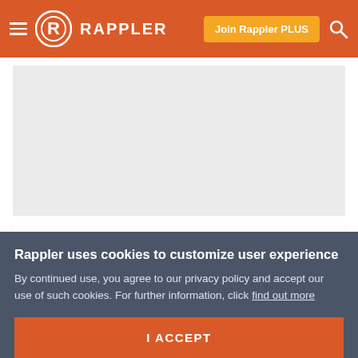RAPPLER
[Figure (other): Gray placeholder advertisement/image area]
SONA 2019: Duterte insists on fishing deal, threat of war with China
Rappler uses cookies to customize user experience
By continued use, you agree to our privacy policy and accept our use of such cookies. For further information, click find out more
I ACCEPT